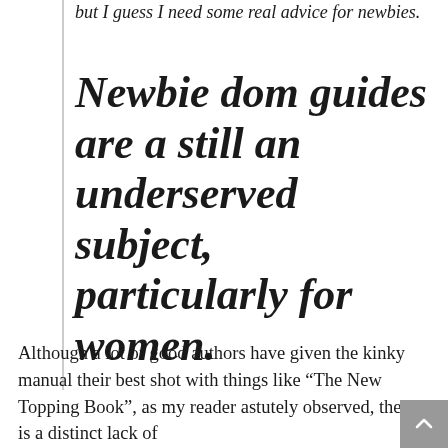but I guess I need some real advice for newbies.
Newbie dom guides are a still an underserved subject, particularly for women.
Although a lot of good authors have given the kinky manual their best shot with things like “The New Topping Book”, as my reader astutely observed, there is a distinct lack of